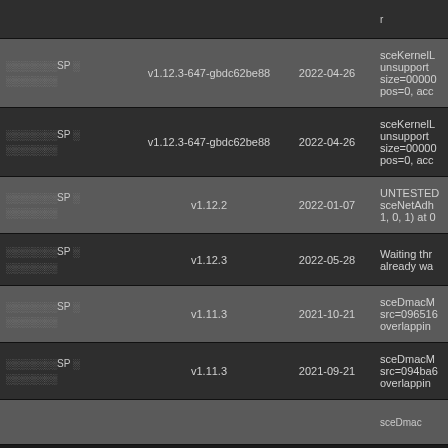| Game | Version | Date | Notes |
| --- | --- | --- | --- |
| ░░░░░░░░SP ░ ░░░░░░░░ | v1.12.3-647-gbdc62be88 | 2022-04-26 | sceKernelL unsupport size=00000 pos=0, acc |
| ░░░░░░░░SP ░ ░░░░░░░░ | v1.12.3-647-gbdc62be88 | 2022-04-26 | sceKernelL unsupport size=00000 pos=0, acc |
| ░░░░░░░░SP ░ ░░░░░░░░ | v1.12.2 | 2022-01-07 | UNTESTED sceNetAdh 1, 0, 1) at 0 |
| ░░░░░░░░SP ░ ░░░░░░░░ | v1.12.3 | 2022-05-28 | Waiting thr already wa |
| ░░░░░░░░SP ░ ░░░░░░░░ | v1.11.3 | 2021-10-21 | sceDmacM src=096516 overlappin |
| ░░░░░░░░SP ░ ░░░░░░░░ | v1.11.3 | 2021-09-21 | sceDmacM src=094ba6 overlappin |